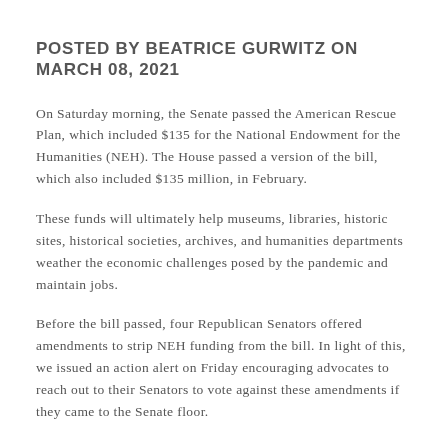POSTED BY BEATRICE GURWITZ ON MARCH 08, 2021
On Saturday morning, the Senate passed the American Rescue Plan, which included $135 for the National Endowment for the Humanities (NEH). The House passed a version of the bill, which also included $135 million, in February.
These funds will ultimately help museums, libraries, historic sites, historical societies, archives, and humanities departments weather the economic challenges posed by the pandemic and maintain jobs.
Before the bill passed, four Republican Senators offered amendments to strip NEH funding from the bill. In light of this, we issued an action alert on Friday encouraging advocates to reach out to their Senators to vote against these amendments if they came to the Senate floor.